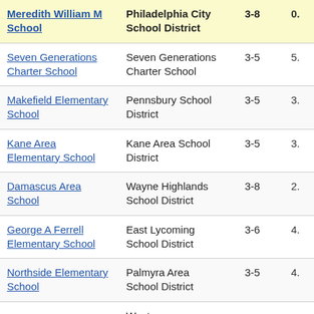| School | District | Grades | Score |
| --- | --- | --- | --- |
| Meredith William M School | Philadelphia City School District | 3-8 | 0. |
| Seven Generations Charter School | Seven Generations Charter School | 3-5 | 5. |
| Makefield Elementary School | Pennsbury School District | 3-5 | 3. |
| Kane Area Elementary School | Kane Area School District | 3-5 | 3. |
| Damascus Area School | Wayne Highlands School District | 3-8 | 2. |
| George A Ferrell Elementary School | East Lycoming School District | 3-6 | 4. |
| Northside Elementary School | Palmyra Area School District | 3-5 | 4. |
| (partial) | West ... |  |  |